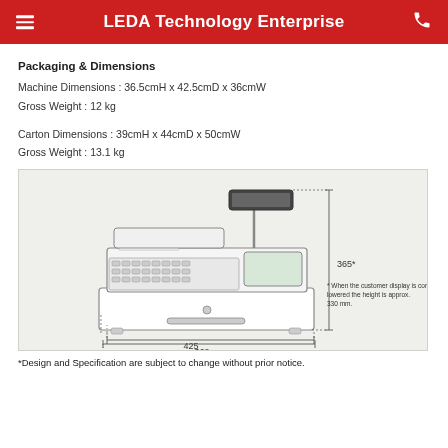LEDA Technology Enterprise
Packaging & Dimensions
Machine Dimensions : 36.5cmH x 42.5cmD x 36cmW
Gross Weight : 12 kg
Carton Dimensions : 39cmH x 44cmD x 50cmW
Gross Weight : 13.1 kg
[Figure (engineering-diagram): Cash register dimensions diagram showing front and side view with dimension annotations: height 365mm (with customer display), 425mm depth, 360mm width. Footnote states: * When the customer display is completely lowered the height is approx. 330 mm.]
*Design and Specification are subject to change without prior notice.